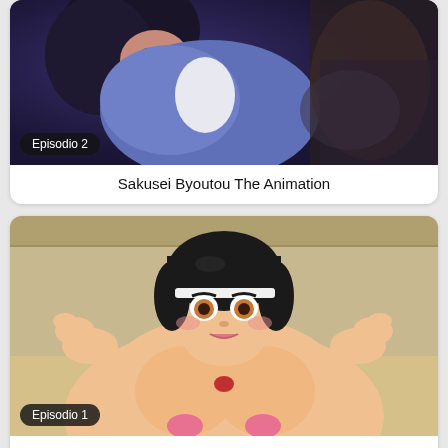[Figure (illustration): Anime thumbnail showing characters in a dark purple/blue scene, labeled Episodio 2]
Sakusei Byoutou The Animation
[Figure (illustration): Anime thumbnail showing a female character with black hair in a room scene, labeled Episodio 1]
Doukyuusei Remake The Animation